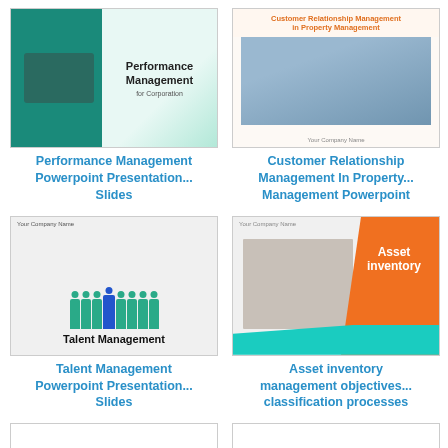[Figure (screenshot): Performance Management PowerPoint presentation thumbnail showing teal/green design with laptop graphic]
Performance Management Powerpoint Presentation... Slides
[Figure (screenshot): Customer Relationship Management in Property Management PowerPoint thumbnail with meeting room photo]
Customer Relationship Management In Property... Management Powerpoint
[Figure (screenshot): Talent Management PowerPoint presentation thumbnail with illustrated figures in teal and one in blue]
Talent Management Powerpoint Presentation... Slides
[Figure (screenshot): Asset inventory PowerPoint thumbnail with orange panel, teal diagonal, and laptop photo]
Asset inventory management objectives... classification processes
[Figure (screenshot): Placeholder thumbnail with letter C]
[Figure (screenshot): Placeholder thumbnail with letter C]